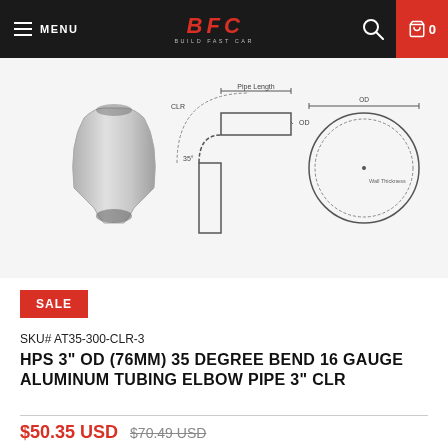MENU | BFC BUILD FAST CAR | Search | Cart 0
[Figure (photo): Product image showing an aluminum elbow pipe bend from three views: a photo of the actual 35-degree bent aluminum tube, a technical side-view diagram with dimension callouts (CLR, OD, pipe length), and a front-view circular cross-section diagram.]
SALE
SKU# AT35-300-CLR-3
HPS 3" OD (76MM) 35 DEGREE BEND 16 GAUGE ALUMINUM TUBING ELBOW PIPE 3" CLR
$50.35 USD $70.49 USD